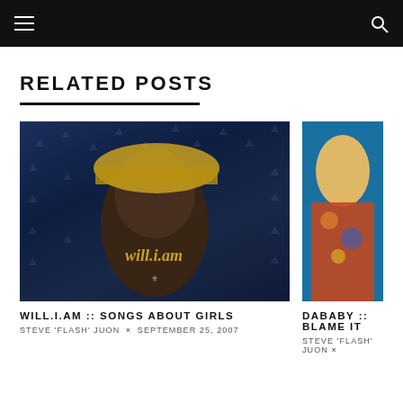Navigation bar with hamburger menu and search icon
RELATED POSTS
[Figure (photo): Photo of will.i.am wearing a gold sequin hat against a blue star-pattern background, with 'will.i.am' written in gold cursive script at lower right]
WILL.I.AM :: SONGS ABOUT GIRLS
STEVE 'FLASH' JUON × SEPTEMBER 25, 2007
[Figure (photo): Partial photo of DaBaby in colorful attire against a blue background — partially cropped at right edge]
DABABY :: BLAME IT
STEVE 'FLASH' JUON ×